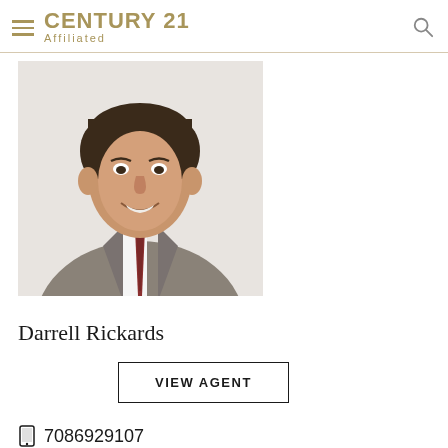CENTURY 21 Affiliated
[Figure (photo): Professional headshot of Darrell Rickards, a man in a gray suit with a red patterned tie, smiling, white background]
Darrell Rickards
VIEW AGENT
7086929107